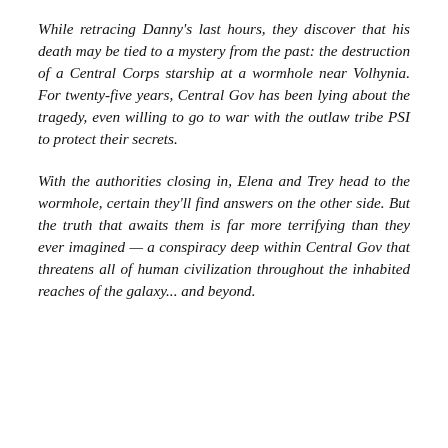While retracing Danny's last hours, they discover that his death may be tied to a mystery from the past: the destruction of a Central Corps starship at a wormhole near Volhynia. For twenty-five years, Central Gov has been lying about the tragedy, even willing to go to war with the outlaw tribe PSI to protect their secrets.
With the authorities closing in, Elena and Trey head to the wormhole, certain they'll find answers on the other side. But the truth that awaits them is far more terrifying than they ever imagined — a conspiracy deep within Central Gov that threatens all of human civilization throughout the inhabited reaches of the galaxy... and beyond.